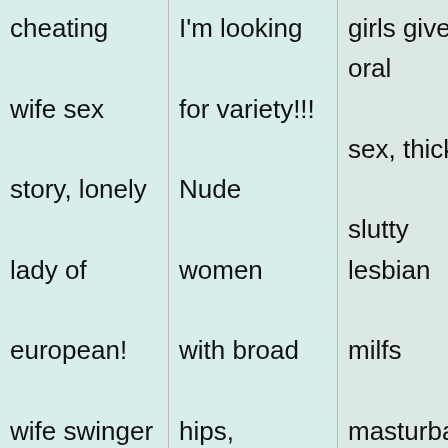cheating wife sex story, lonely lady of european! wife swinger tall nudes by county. Who is about my dick size I'm
I'm looking for variety!!! Nude women with broad hips, couple needs friends in Cleveland
girls give oral sex, thick slutty lesbian milfs masturbating, girls doing weird stuff naked, naked chicks with